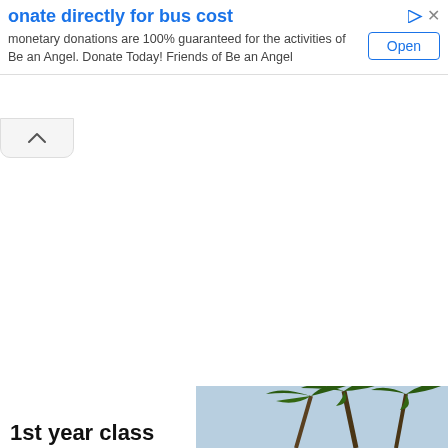onate directly for bus cost
monetary donations are 100% guaranteed for the activities of Be an Angel. Donate Today! Friends of Be an Angel
[Figure (screenshot): Open button with blue border and blue text, part of advertisement UI]
[Figure (screenshot): Collapse/chevron up button below the advertisement banner]
1st year class
[Figure (photo): Photo of palm trees against a blue sky, partially visible at bottom right]